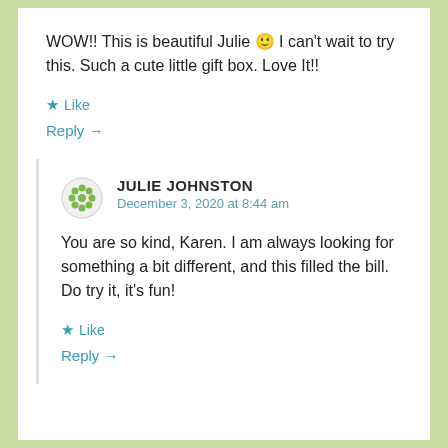WOW!! This is beautiful Julie 🙂 I can't wait to try this. Such a cute little gift box. Love It!!
★ Like
Reply →
JULIE JOHNSTON
December 3, 2020 at 8:44 am
You are so kind, Karen. I am always looking for something a bit different, and this filled the bill. Do try it, it's fun!
★ Like
Reply →